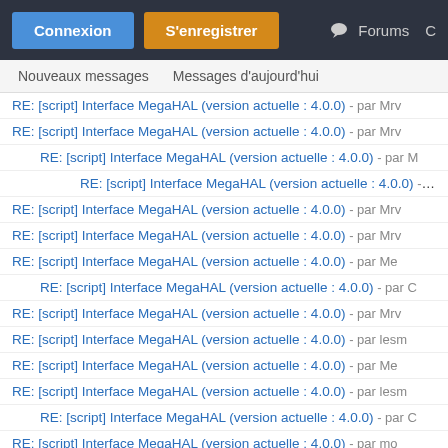Connexion | S'enregistrer | Forums
Nouveaux messages   Messages d'aujourd'hui
RE: [script] Interface MegaHAL (version actuelle : 4.0.0) - par Mrv
RE: [script] Interface MegaHAL (version actuelle : 4.0.0) - par Mrv
RE: [script] Interface MegaHAL (version actuelle : 4.0.0) - par M
RE: [script] Interface MegaHAL (version actuelle : 4.0.0) - par
RE: [script] Interface MegaHAL (version actuelle : 4.0.0) - par Mrv
RE: [script] Interface MegaHAL (version actuelle : 4.0.0) - par Mrv
RE: [script] Interface MegaHAL (version actuelle : 4.0.0) - par Me
RE: [script] Interface MegaHAL (version actuelle : 4.0.0) - par C
RE: [script] Interface MegaHAL (version actuelle : 4.0.0) - par Mrv
RE: [script] Interface MegaHAL (version actuelle : 4.0.0) - par lesm
RE: [script] Interface MegaHAL (version actuelle : 4.0.0) - par Me
RE: [script] Interface MegaHAL (version actuelle : 4.0.0) - par lesm
RE: [script] Interface MegaHAL (version actuelle : 4.0.0) - par C
RE: [script] Interface MegaHAL (version actuelle : 4.0.0) - par mo
RE: [script] Interface MegaHAL (version actuelle : 4.0.0) - par Me
RE: [script] Interface MegaHAL (version actuelle : 4.0.0) - par Oop
RE: [script] Interface MegaHAL (version actuelle : 4.0.0) - par alia
RE: [script] Interface MegaHAL (version actuelle : 4.0.0)